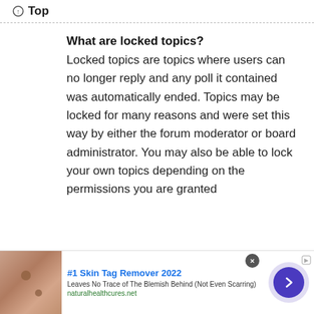Top
What are locked topics?
Locked topics are topics where users can no longer reply and any poll it contained was automatically ended. Topics may be locked for many reasons and were set this way by either the forum moderator or board administrator. You may also be able to lock your own topics depending on the permissions you are granted
[Figure (other): Advertisement banner: #1 Skin Tag Remover 2022. Leaves No Trace of The Blemish Behind (Not Even Scarring). naturalhealthcures.net. Shows skin close-up image on left and a purple arrow button on right.]